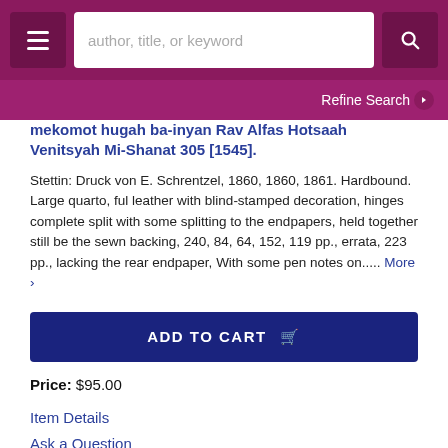author, title, or keyword [search bar] [menu] [search button]
Refine Search
mekomot hugah ba-inyan Rav Alfas Hotsaah Venitsyah Mi-Shanat 305 [1545].
Stettin: Druck von E. Schrentzel, 1860, 1860, 1861. Hardbound. Large quarto, ful leather with blind-stamped decoration, hinges complete split with some splitting to the endpapers, held together still be the sewn backing, 240, 84, 64, 152, 119 pp., errata, 223 pp., lacking the rear endpaper, With some pen notes on..... More ›
ADD TO CART
Price: $95.00
Item Details
Ask a Question